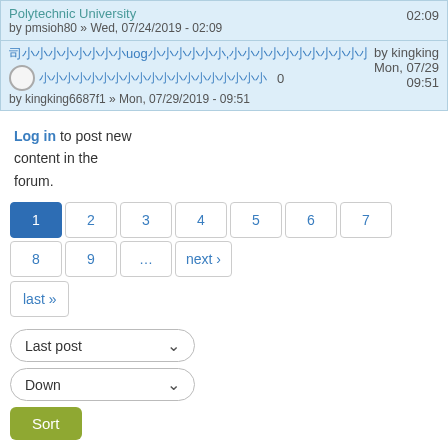Polytechnic University
by pmsioh80 » Wed, 07/24/2019 - 02:09
02:09
uog Q786161891
by kingking
Mon, 07/29
0
by kingking6687f1 » Mon, 07/29/2019 - 09:51
09:51
Log in to post new content in the forum.
1 2 3 4 5 6 7 8 9 … next › last »
Last post
Down
Sort
- Forum Tools -
New posts